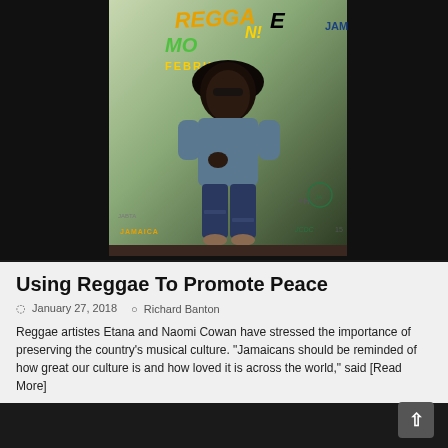[Figure (photo): A woman standing in front of a Reggae Month event backdrop, wearing a denim shirt and ripped jeans with a wide-brimmed hat. Logos for Jamaica, JABTA, JCDC and other sponsors visible on the backdrop.]
Using Reggae To Promote Peace
January 27, 2018  Richard Banton
Reggae artistes Etana and Naomi Cowan have stressed the importance of preserving the country's musical culture. "Jamaicans should be reminded of how great our culture is and how loved it is across the world," said [Read More]